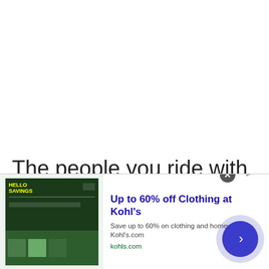The people you ride with will give you the necessary motivation. This way you will be able to learn from them or even get help in case you
[Figure (other): Advertisement banner for Kohl's: 'Up to 60% off Clothing at Kohl's'. Save up to 60% on clothing and homeware at Kohl's.com. kohls.com. Shows a Kohl's savings advertisement image on the left and a blue chevron CTA button on the right.]